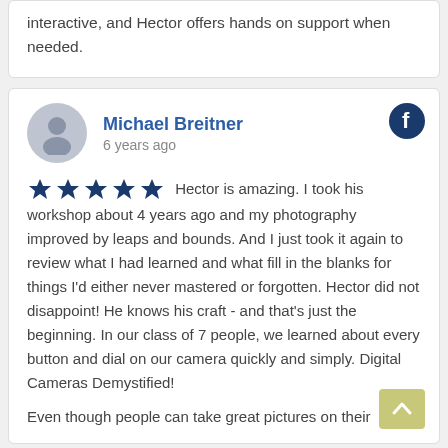interactive, and Hector offers hands on support when needed.
Michael Breitner
6 years ago
Hector is amazing. I took his workshop about 4 years ago and my photography improved by leaps and bounds. And I just took it again to review what I had learned and what fill in the blanks for things I'd either never mastered or forgotten. Hector did not disappoint! He knows his craft - and that's just the beginning. In our class of 7 people, we learned about every button and dial on our camera quickly and simply. Digital Cameras Demystified!
Even though people can take great pictures on their